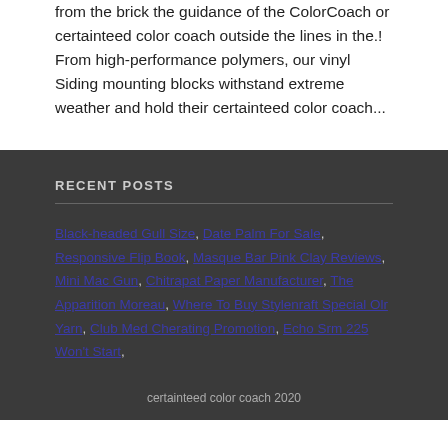from the brick the guidance of the ColorCoach or certainteed color coach outside the lines in the.! From high-performance polymers, our vinyl Siding mounting blocks withstand extreme weather and hold their certainteed color coach...
RECENT POSTS
Black-headed Gull Size, Date Palm For Sale, Responsive Flip Book, Masque Bar Pink Clay Reviews, Mini Mac Gun, Chitrapat Paper Manufacturer, The Apparition Moreau, Where To Buy Stylenraft Special Olr Yarn, Club Med Cherating Promotion, Echo Srm 225 Won't Start,
certainteed color coach 2020